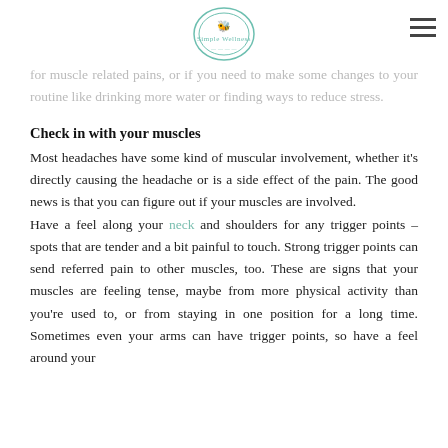Simple Wellness logo and navigation
for muscle related pains, or if you need to make some changes to your routine like drinking more water or finding ways to reduce stress.
Check in with your muscles
Most headaches have some kind of muscular involvement, whether it's directly causing the headache or is a side effect of the pain. The good news is that you can figure out if your muscles are involved. Have a feel along your neck and shoulders for any trigger points – spots that are tender and a bit painful to touch. Strong trigger points can send referred pain to other muscles, too. These are signs that your muscles are feeling tense, maybe from more physical activity than you're used to, or from staying in one position for a long time. Sometimes even your arms can have trigger points, so have a feel around your